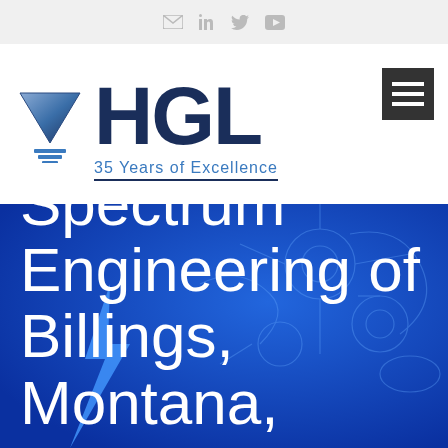Social icons: email, LinkedIn, Twitter, YouTube
[Figure (logo): HGL company logo: downward-pointing triangle with horizontal lines beneath it, beside large bold 'HGL' text in dark navy, with tagline '35 Years of Excellence' in blue below, and a dark hamburger menu icon on the right]
Spectrum Engineering of Billings, Montana,